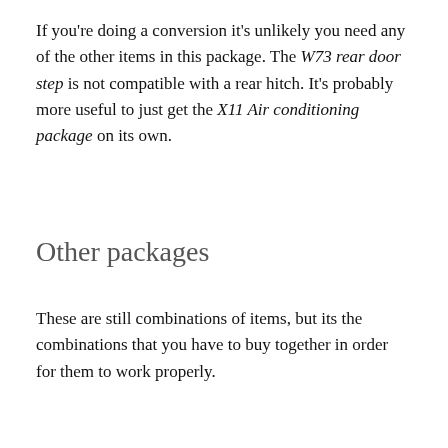If you're doing a conversion it's unlikely you need any of the other items in this package. The W73 rear door step is not compatible with a rear hitch. It's probably more useful to just get the X11 Air conditioning package on its own.
Other packages
These are still combinations of items, but its the combinations that you have to buy together in order for them to work properly.
X01 Suspension Seating Package (no longer available)
Ah, let's all take a moment to mourn the loss of this package. Seats that actually absorb road bumps well, at a